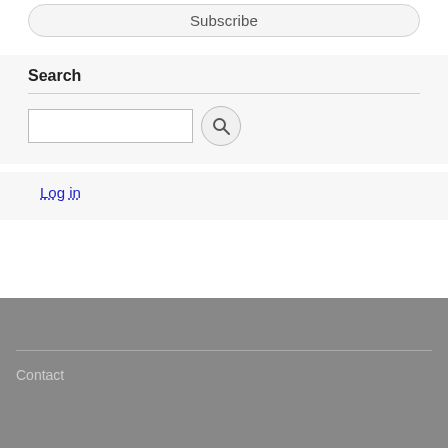Subscribe
Search
[Figure (screenshot): Search input box with a circular search button icon]
Log in
Contact